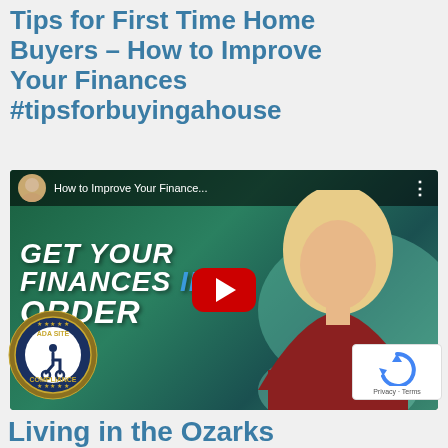Tips for First Time Home Buyers – How to Improve Your Finances #tipsforbuyingahouse
[Figure (screenshot): YouTube video thumbnail showing 'How to Improve Your Finance...' with text 'GET YOUR FINANCES IN ORDER' and a woman with blonde hair in a red sweater, play button in center]
[Figure (logo): ADA Site Compliance badge - circular seal with wheelchair accessibility icon]
Living in the Ozarks
[Figure (other): Google reCAPTCHA widget with Privacy - Terms text]